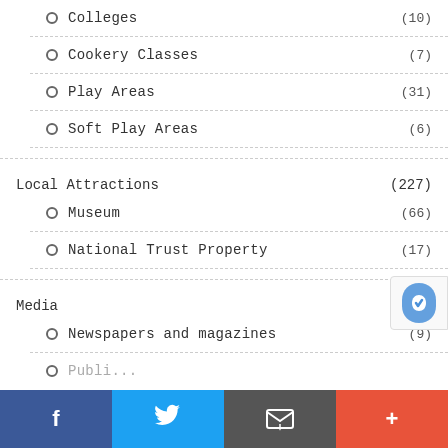Colleges (10)
Cookery Classes (7)
Play Areas (31)
Soft Play Areas (6)
Local Attractions (227)
Museum (66)
National Trust Property (17)
Media (40)
Newspapers and magazines (9)
Publishing (partial)